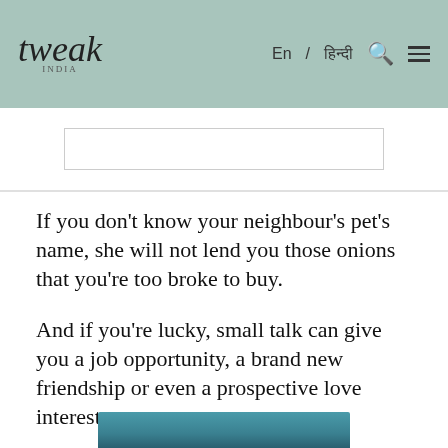tweak INDIA — En / हिन्दी
If you don't know your neighbour's pet's name, she will not lend you those onions that you're too broke to buy.
And if you're lucky, small talk can give you a job opportunity, a brand new friendship or even a prospective love interest.
But like with everything else in life, small talk takes a little practice.
[Figure (photo): Bottom strip of a photo showing teal/blue tones, partially visible at page bottom]